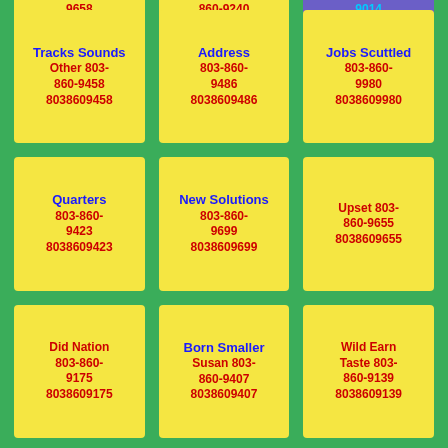9658
8038609658
860-9240
8038609240
9014
8038609014
Tracks Sounds Other 803-860-9458
8038609458
Address 803-860-9486
8038609486
Jobs Scuttled 803-860-9980
8038609980
Quarters 803-860-9423
8038609423
New Solutions 803-860-9699
8038609699
Upset 803-860-9655
8038609655
Did Nation 803-860-9175
8038609175
Born Smaller Susan 803-860-9407
8038609407
Wild Earn Taste 803-860-9139
8038609139